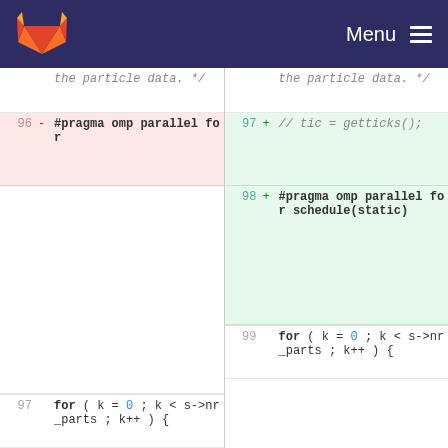Menu
[Figure (screenshot): Code diff view showing two columns of code with line numbers. Left side shows removed lines (red background) and right side shows added lines (green background). Code is C/C++ with OpenMP pragmas.]